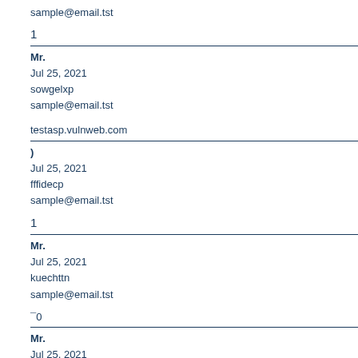sample@email.tst
1
Mr.
Jul 25, 2021
sowgelxp
sample@email.tst
testasp.vulnweb.com
)
Jul 25, 2021
fffidecp
sample@email.tst
1
Mr.
Jul 25, 2021
kuechttn
sample@email.tst
¯0
Mr.
Jul 25, 2021
fffidecp
sample@email.tst